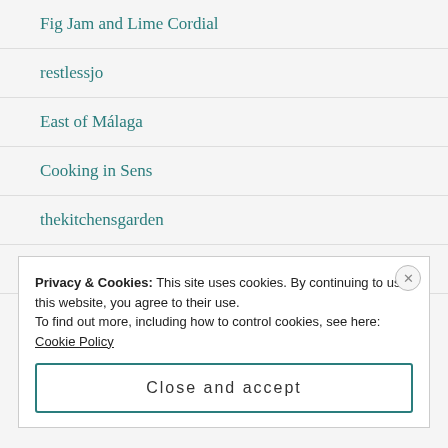Fig Jam and Lime Cordial
restlessjo
East of Málaga
Cooking in Sens
thekitchensgarden
Chica Andaluza
Privacy & Cookies: This site uses cookies. By continuing to use this website, you agree to their use.
To find out more, including how to control cookies, see here: Cookie Policy
Close and accept